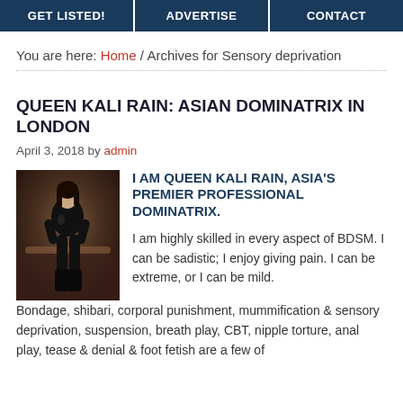GET LISTED! | ADVERTISE | CONTACT
You are here: Home / Archives for Sensory deprivation
QUEEN KALI RAIN: ASIAN DOMINATRIX IN LONDON
April 3, 2018 by admin
[Figure (photo): Photo of Queen Kali Rain in black latex outfit]
I AM QUEEN KALI RAIN, ASIA'S PREMIER PROFESSIONAL DOMINATRIX. I am highly skilled in every aspect of BDSM. I can be sadistic; I enjoy giving pain. I can be extreme, or I can be mild.
Bondage, shibari, corporal punishment, mummification & sensory deprivation, suspension, breath play, CBT, nipple torture, anal play, tease & denial & foot fetish are a few of